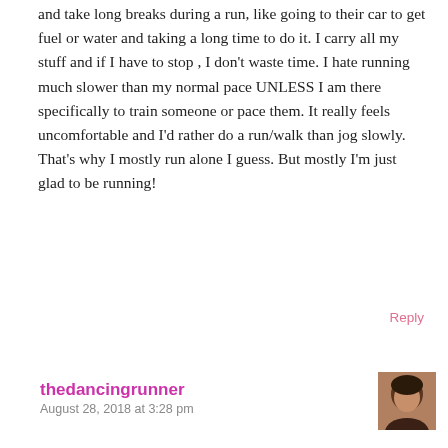and take long breaks during a run, like going to their car to get fuel or water and taking a long time to do it. I carry all my stuff and if I have to stop , I don't waste time. I hate running much slower than my normal pace UNLESS I am there specifically to train someone or pace them. It really feels uncomfortable and I'd rather do a run/walk than jog slowly. That's why I mostly run alone I guess. But mostly I'm just glad to be running!
Reply
thedancingrunner
August 28, 2018 at 3:28 pm
[Figure (photo): Avatar photo of thedancingrunner commenter - a woman with dark hair]
I do not like flaky runners either 🙂 I am VERY blessed to have really consistent running buddies finally! During the week with my hectic schedule I really need that so I cherish it.